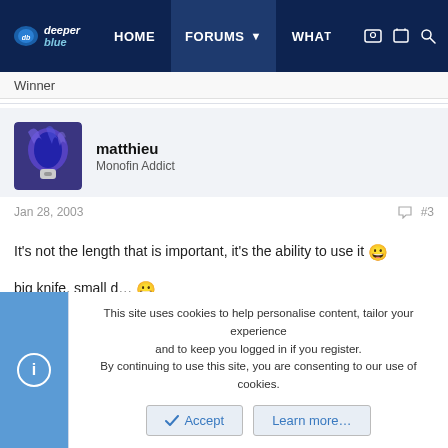deeper blue | HOME | FORUMS | WHAT
Winner
matthieu
Monofin Addict
Jan 28, 2003  #3
It's not the length that is important, it's the ability to use it 😀
big knife, small d... 😀
This site uses cookies to help personalise content, tailor your experience and to keep you logged in if you register.
By continuing to use this site, you are consenting to our use of cookies.